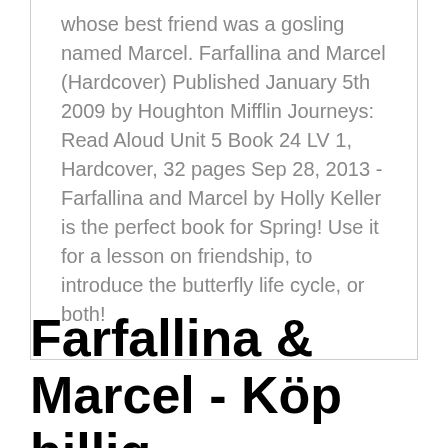whose best friend was a gosling named Marcel. Farfallina and Marcel (Hardcover) Published January 5th 2009 by Houghton Mifflin Journeys: Read Aloud Unit 5 Book 24 LV 1, Hardcover, 32 pages Sep 28, 2013 - Farfallina and Marcel by Holly Keller is the perfect book for Spring! Use it for a lesson on friendship, to introduce the butterfly life cycle, or both!
Farfallina & Marcel - Köp billig bok/ljudbok/e-bok